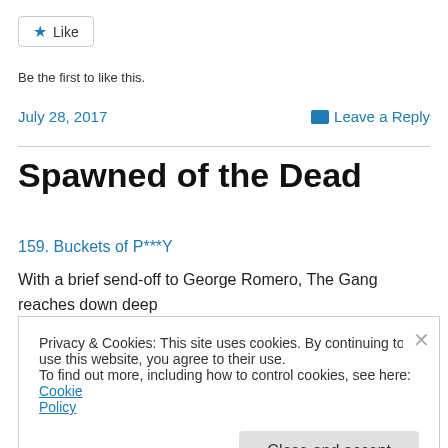[Figure (other): Like button with star icon]
Be the first to like this.
July 28, 2017    Leave a Reply
Spawned of the Dead
159. Buckets of P***Y
With a brief send-off to George Romero, The Gang reaches down deep and unearths some strange verbal imagery. How do you get from
Privacy & Cookies: This site uses cookies. By continuing to use this website, you agree to their use.
To find out more, including how to control cookies, see here: Cookie Policy
[Close and accept]